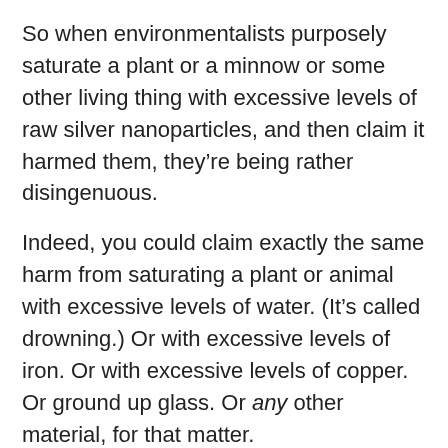So when environmentalists purposely saturate a plant or a minnow or some other living thing with excessive levels of raw silver nanoparticles, and then claim it harmed them, they’re being rather disingenuous.
Indeed, you could claim exactly the same harm from saturating a plant or animal with excessive levels of water. (It’s called drowning.) Or with excessive levels of iron. Or with excessive levels of copper. Or ground up glass. Or any other material, for that matter.
They’re all potentially harmful at some level, in some concentration, and in some particular form.
But just because you can harm a plant by saturating it with high levels of copper or iron or ground up glass, doesn’t mean you’re going to run out and –